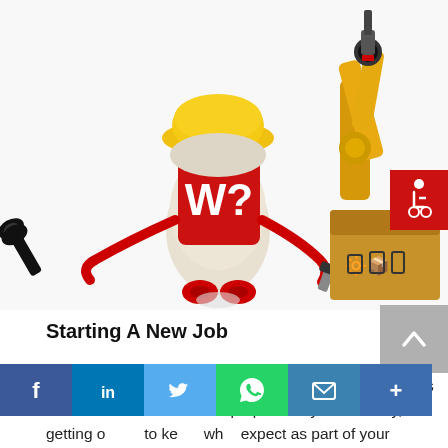[Figure (illustration): Cartoon robot/worker character wearing a yellow hard hat, with a red shield displaying 'W?' logo, holding a wrench, with red hose arms, standing on wheels. To the right: an industrial robotic arm and a cardboard box with handling symbols. A red badge with wheelchair accessibility icon in the top right corner.]
Starting A New Job
There is a lot to take in when you start a new job, here is some advice about how to prepare for your first day, getting o to ke wh expect as part of your introduction to the company and the best tips on how to